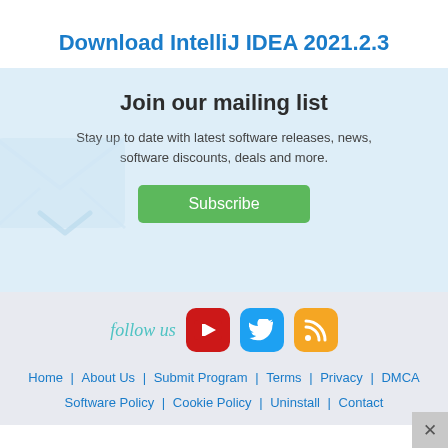Download IntelliJ IDEA 2021.2.3
Join our mailing list
Stay up to date with latest software releases, news, software discounts, deals and more.
Subscribe
[Figure (infographic): Follow us row with YouTube, Twitter, and RSS social media icons]
Home   About Us   Submit Program   Terms   Privacy   DMCA   Software Policy   Cookie Policy   Uninstall   Contact